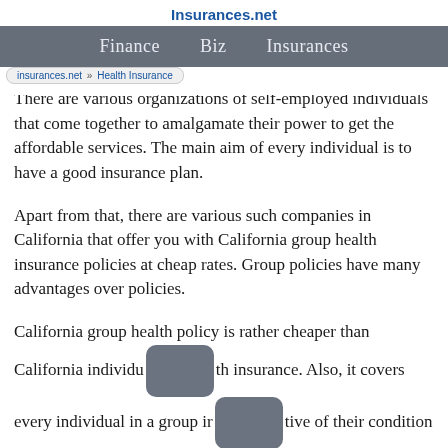Insurances.net
Finance   Biz   Insurances
insurances.net » Health Insurance
There are various organizations of self-employed individuals that come together to amalgamate their power to get the affordable services. The main aim of every individual is to have a good insurance plan.
Apart from that, there are various such companies in California that offer you with California group health insurance policies at cheap rates. Group policies have many advantages over policies.
California group health policy is rather cheaper than California individual health insurance. Also, it covers every individual in a group irrespective of their condition of health. It proves to be beneficial for those who are not just eligible for individual plans.